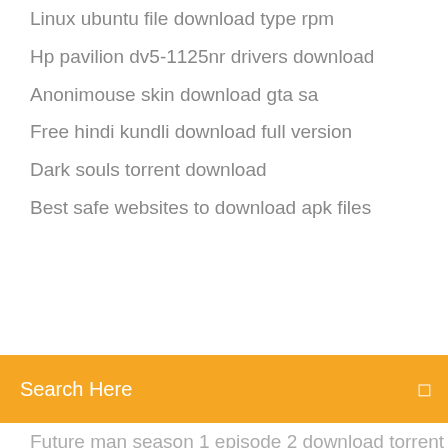Linux ubuntu file download type rpm
Hp pavilion dv5-1125nr drivers download
Anonimouse skin download gta sa
Free hindi kundli download full version
Dark souls torrent download
Best safe websites to download apk files
Search Here
Future man season 1 episode 2 download torrent
Download netflix app for windows pc
Anthem pc download service
Powerdirector pro apk cracked download free
Fallout 4 essentially mod download pack
Dell cd drivers and utilities download
Mod roots 2 minecraft 1.12.2 download
Malayalam live tv apk download
Gamecom 780 driver download
Download the ghost file
Can you download and play apks oculus go